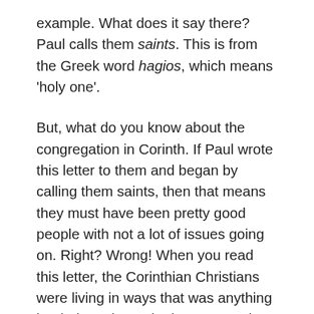example. What does it say there? Paul calls them saints. This is from the Greek word hagios, which means 'holy one'.
But, what do you know about the congregation in Corinth. If Paul wrote this letter to them and began by calling them saints, then that means they must have been pretty good people with not a lot of issues going on. Right? Wrong! When you read this letter, the Corinthian Christians were living in ways that was anything but holy and moral. They were suing one another–Christians suing other Christians, the rich Christians were looking down their noses at the poorer Christians, some were coming to church drunk, and a stepson, who was a Christian, was sleeping with his stepmother and no one in the congregation seemed to